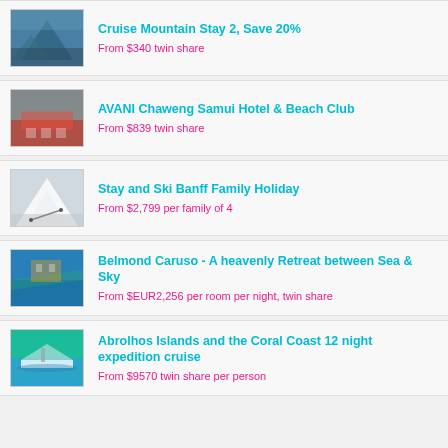Cruise Mountain Stay 2, Save 20%
From $340 twin share
AVANI Chaweng Samui Hotel & Beach Club
From $839 twin share
Stay and Ski Banff Family Holiday
From $2,799 per family of 4
Belmond Caruso - A heavenly Retreat between Sea & Sky
From $EUR2,256 per room per night, twin share
Abrolhos Islands and the Coral Coast 12 night expedition cruise
From $9570 twin share per person